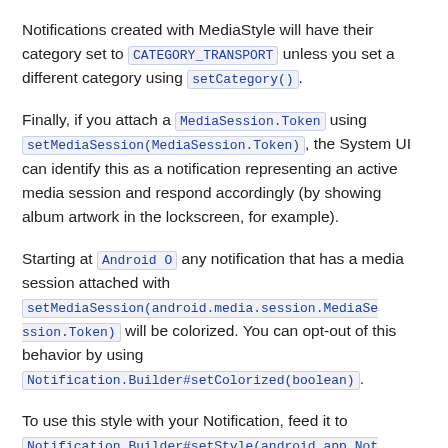Notifications created with MediaStyle will have their category set to CATEGORY_TRANSPORT unless you set a different category using setCategory().
Finally, if you attach a MediaSession.Token using setMediaSession(MediaSession.Token), the System UI can identify this as a notification representing an active media session and respond accordingly (by showing album artwork in the lockscreen, for example).
Starting at Android O any notification that has a media session attached with setMediaSession(android.media.session.MediaSession.Token) will be colorized. You can opt-out of this behavior by using Notification.Builder#setColorized(boolean).
To use this style with your Notification, feed it to Notification.Builder#setStyle(android.app.Notification.Style) like so: